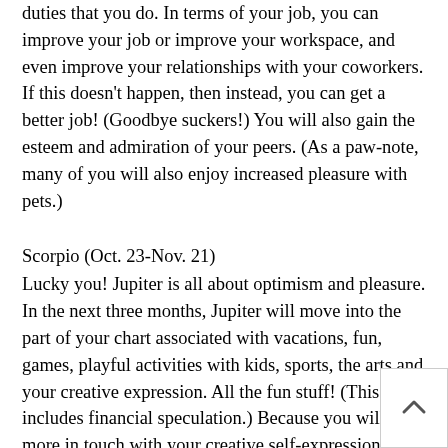duties that you do. In terms of your job, you can improve your job or improve your workspace, and even improve your relationships with your coworkers. If this doesn't happen, then instead, you can get a better job! (Goodbye suckers!) You will also gain the esteem and admiration of your peers. (As a paw-note, many of you will also enjoy increased pleasure with pets.)
Scorpio (Oct. 23-Nov. 21)
Lucky you! Jupiter is all about optimism and pleasure. In the next three months, Jupiter will move into the part of your chart associated with vacations, fun, games, playful activities with kids, sports, the arts and your creative expression. All the fun stuff! (This includes financial speculation.) Because you will be more in touch with your creative self-expression, you will find the courage to be yourself! You will express yourself without fear or apology. Your relations with children will improve. Romance will blossom in a dazzling way. It will be a